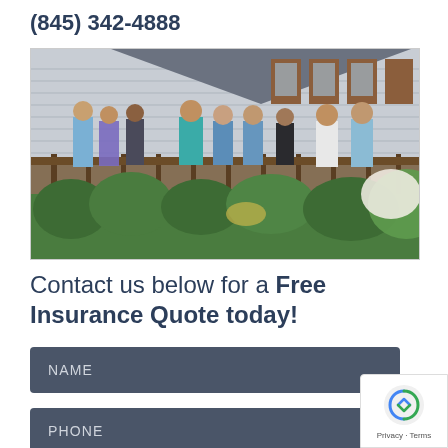(845) 342-4888
[Figure (photo): Group photo of insurance agency staff standing on a wooden deck in front of a house with bushes and flowers in the background.]
Contact us below for a Free Insurance Quote today!
NAME
PHONE